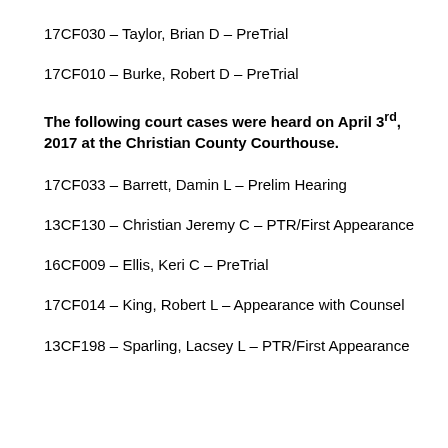17CF030 – Taylor, Brian D – PreTrial
17CF010 – Burke, Robert D – PreTrial
The following court cases were heard on April 3rd, 2017 at the Christian County Courthouse.
17CF033 – Barrett, Damin L – Prelim Hearing
13CF130 – Christian Jeremy C – PTR/First Appearance
16CF009 – Ellis, Keri C – PreTrial
17CF014 – King, Robert L – Appearance with Counsel
13CF198 – Sparling, Lacsey L – PTR/First Appearance